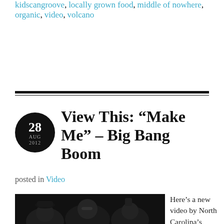kidscangroove, locally grown food, middle of nowhere, organic, video, volcano
View This: “Make Me” – Big Bang Boom
posted in Video
[Figure (photo): Three people in a dark photo booth style image]
Here’s a new video by North Carolina’s favorite “Power